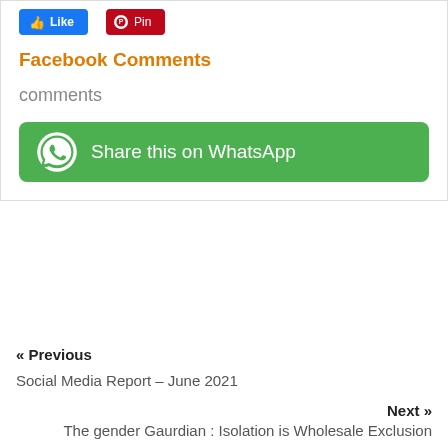[Figure (screenshot): Facebook Like button (blue) and Pinterest Pin button (dark red) social sharing buttons]
Facebook Comments
comments
[Figure (other): Green WhatsApp share button with WhatsApp logo icon and text 'Share this on WhatsApp']
« Previous
Social Media Report – June 2021
Next »
The gender Gaurdian : Isolation is Wholesale Exclusion